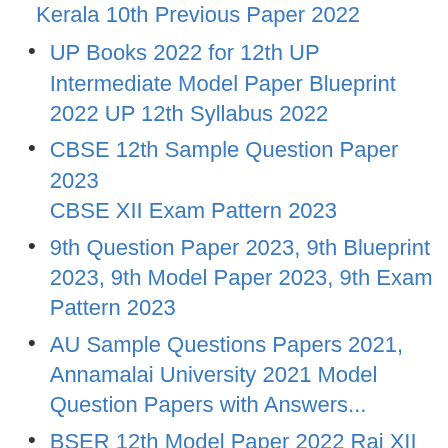Kerala 10th Previous Paper 2022
UP Books 2022 for 12th UP Intermediate Model Paper Blueprint 2022 UP 12th Syllabus 2022
CBSE 12th Sample Question Paper 2023 CBSE XII Exam Pattern 2023
9th Question Paper 2023, 9th Blueprint 2023, 9th Model Paper 2023, 9th Exam Pattern 2023
AU Sample Questions Papers 2021, Annamalai University 2021 Model Question Papers with Answers...
BSER 12th Model Paper 2022 Raj XII